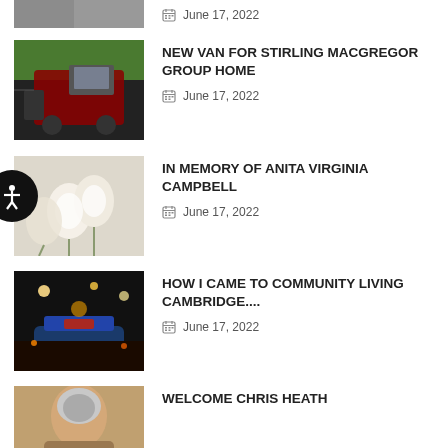[Figure (photo): Partial photo at top, cropped — person holding something indoors]
June 17, 2022
[Figure (photo): Person opening door of a red vehicle]
NEW VAN FOR STIRLING MACGREGOR GROUP HOME
June 17, 2022
[Figure (photo): White roses/flowers on light background]
IN MEMORY OF ANITA VIRGINIA CAMPBELL
June 17, 2022
[Figure (photo): Night scene with lights and decorated vehicle/float]
HOW I CAME TO COMMUNITY LIVING CAMBRIDGE....
June 17, 2022
[Figure (photo): Portrait of a person with grey hair]
WELCOME CHRIS HEATH